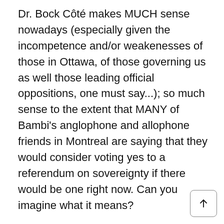Dr. Bock Côté makes MUCH sense nowadays (especially given the incompetence and/or weakenesses of those in Ottawa, of those governing us as well those leading official oppositions, one must say...); so much sense to the extent that MANY of Bambi's anglophone and allophone friends in Montreal are saying that they would consider voting yes to a referendum on sovereignty if there would be one right now. Can you imagine what it means?
Many (if not most) of Canadian